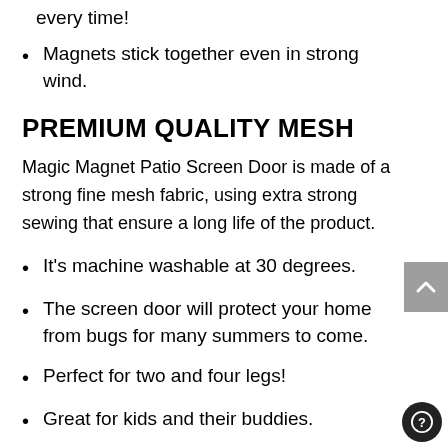every time!
Magnets stick together even in strong wind.
PREMIUM QUALITY MESH
Magic Magnet Patio Screen Door is made of a strong fine mesh fabric, using extra strong sewing that ensure a long life of the product.
It's machine washable at 30 degrees.
The screen door will protect your home from bugs for many summers to come.
Perfect for two and four legs!
Great for kids and their buddies.
Don't need to create a doggie door or a cat door in your Screen door.